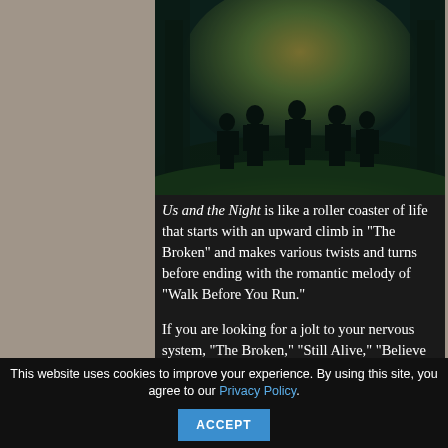[Figure (photo): Five silhouetted figures standing in a dark, foggy forest with a greenish-yellow glow behind them. Album cover art for 'Us and the Night'.]
Us and the Night is like a roller coaster of life that starts with an upward climb in “The Broken” and makes various twists and turns before ending with the romantic melody of “Walk Before You Run.”
If you are looking for a jolt to your nervous system, “The Broken,” “Still Alive,” “Believe It,” “Living in Your
This website uses cookies to improve your experience. By using this site, you agree to our Privacy Policy.